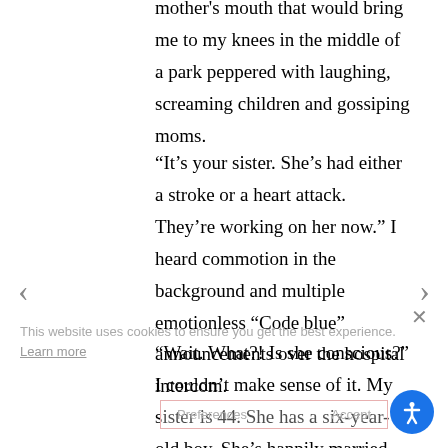mother's mouth that would bring me to my knees in the middle of a park peppered with laughing, screaming children and gossiping moms.
“It's your sister. She's had either a stroke or a heart attack. They're working on her now.” I heard commotion in the background and multiple emotionless “Code blue” announcements over the hospital intercom.
“Wait. What?! Is she conscious?” I couldn't make sense of it. My sister is 44. She has a six-year-old boy. She's happily married. She's seemingly healthy. Oh my god. Her son.